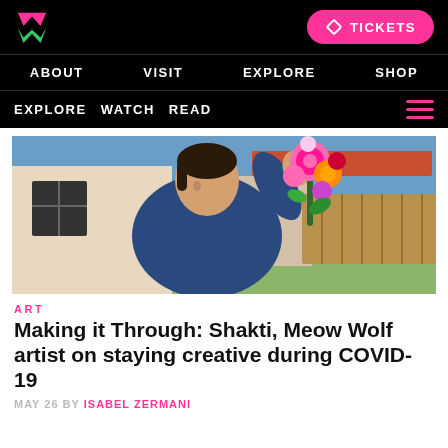Meow Wolf — TICKETS
ABOUT   VISIT   EXPLORE   SHOP
EXPLORE  WATCH  READ
[Figure (photo): Woman in denim jacket smiling and holding a bouquet of colorful artificial flowers outdoors, with a house and fence in the background.]
ART
Making it Through: Shakti, Meow Wolf artist on staying creative during COVID-19
MAY 26 BY ISABEL ZERMANI